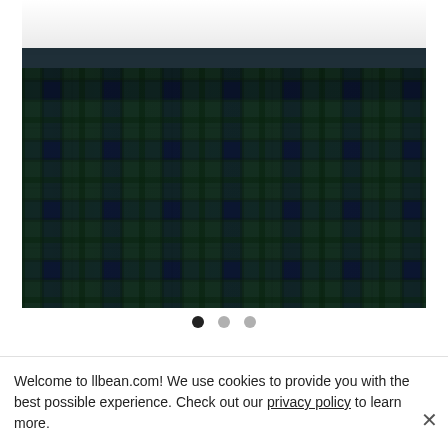[Figure (photo): A dark plaid quilted blanket or bedspread in navy blue and forest green tartan pattern draped over a bed with white pillows visible at the top.]
• • •  (image carousel navigation dots)
Save 15%: Purchase price is $152.15 upon
Welcome to llbean.com! We use cookies to provide you with the best possible experience. Check out our privacy policy to learn more.